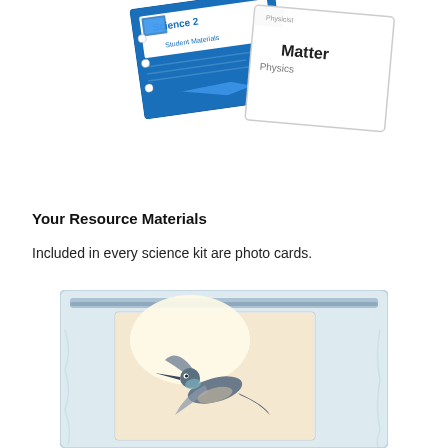[Figure (photo): Photo of a science kit showing a blue booklet labeled 'Science 2 Student Materials' and a white card showing 'Matter of Physics' text]
Your Resource Materials
Included in every science kit are photo cards.
[Figure (photo): A clear plastic zip-lock bag containing a photo card showing a hummingbird in flight]